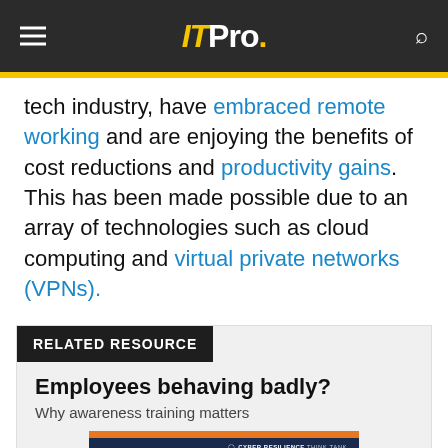IT Pro.
tech industry, have embraced remote working and are enjoying the benefits of cost reductions and productivity gains. This has been made possible due to an array of technologies such as cloud computing and virtual private networks (VPNs).
RELATED RESOURCE
Employees behaving badly?
Why awareness training matters
[Figure (screenshot): Cover image for 'Employees behaving badly?' resource — dark navy background with orange title text and a Cyber Resilience Think Tank logo at the top right.]